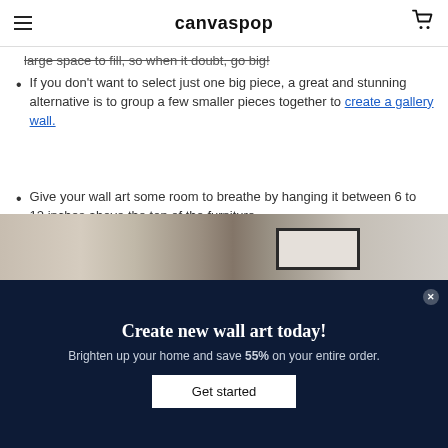canvaspop
large space to fill, so when it doubt, go big!
If you don't want to select just one big piece, a great and stunning alternative is to group a few smaller pieces together to create a gallery wall.
Give your wall art some room to breathe by hanging it between 6 to 12 inches above the top of the furniture.
For more sizing info, you can read our blog How to pick wall art that's the right size for your space.
[Figure (photo): Photo of a room interior with a framed wall art piece above furniture]
Create new wall art today!
Brighten up your home and save 55% on your entire order.
Get started